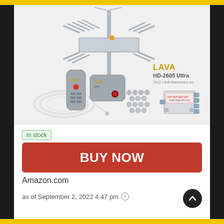[Figure (photo): Product photo of LAVA HD-2605 Ultra outdoor TV antenna with remote control, control box, coaxial cable, mounting hardware screws, and 4-way splitter]
in stock
BUY NOW
Amazon.com
as of September 2, 2022 4:47 pm ⓘ